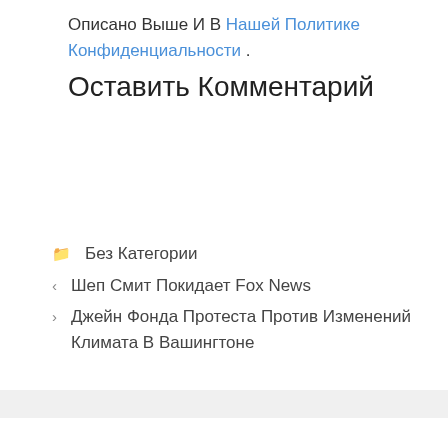Описано Выше И В Нашей Политике Конфиденциальности .
📁 Без Категории
< Шеп Смит Покидает Fox News
> Джейн Фонда Протеста Против Изменений Климата В Вашингтоне
Оставить Комментарий